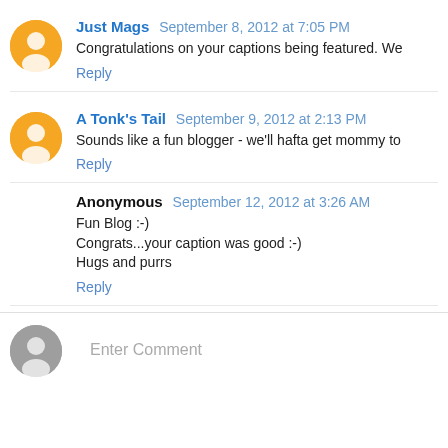Just Mags September 8, 2012 at 7:05 PM
Congratulations on your captions being featured. We
Reply
A Tonk's Tail September 9, 2012 at 2:13 PM
Sounds like a fun blogger - we'll hafta get mommy to
Reply
Anonymous September 12, 2012 at 3:26 AM
Fun Blog :-)
Congrats...your caption was good :-)
Hugs and purrs
Reply
Enter Comment